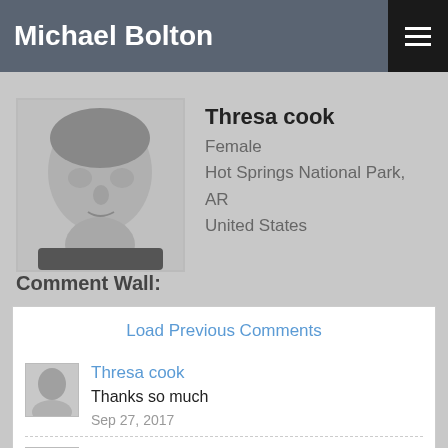Michael Bolton
[Figure (photo): Black and white portrait photo of a middle-aged man]
Thresa cook
Female
Hot Springs National Park, AR
United States
Comment Wall:
Load Previous Comments
Thresa cook
Thanks so much
Sep 27, 2017
Sally Turner
Michael has a milestone birthday coming up in February 2018. I ran an idea past Gail that passed with approval